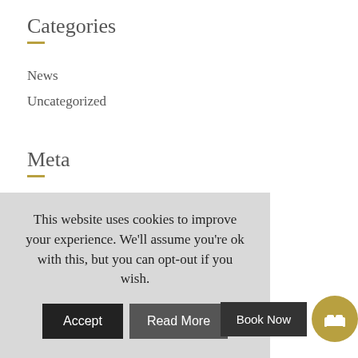Categories
News
Uncategorized
Meta
Log in
Entries feed
Comments feed
This website uses cookies to improve your experience. We'll assume you're ok with this, but you can opt-out if you wish.